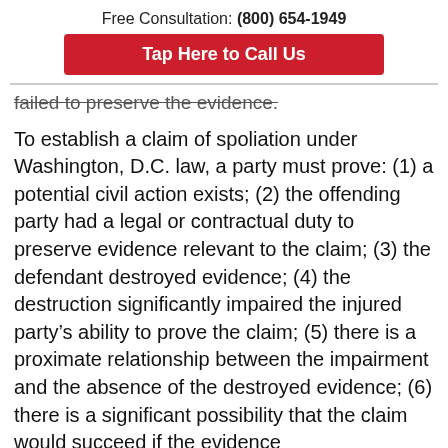Free Consultation: (800) 654-1949
Tap Here to Call Us
failed to preserve the evidence.
To establish a claim of spoliation under Washington, D.C. law, a party must prove: (1) a potential civil action exists; (2) the offending party had a legal or contractual duty to preserve evidence relevant to the claim; (3) the defendant destroyed evidence; (4) the destruction significantly impaired the injured party's ability to prove the claim; (5) there is a proximate relationship between the impairment and the absence of the destroyed evidence; (6) there is a significant possibility that the claim would succeed if the evidence